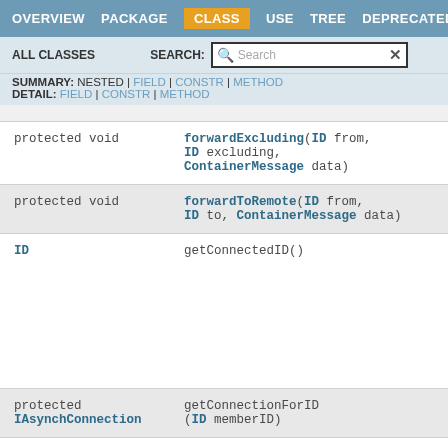OVERVIEW   PACKAGE   CLASS   USE   TREE   DEPRECATED
ALL CLASSES   SEARCH:
SUMMARY: NESTED | FIELD | CONSTR | METHOD
DETAIL: FIELD | CONSTR | METHOD
| Type | Method |
| --- | --- |
| protected void | forwardExcluding(ID from, ID excluding, ContainerMessage data) |
| protected void | forwardToRemote(ID from, ID to, ContainerMessage data) |
| ID | getConnectedID() |
| protected IAsynchConnection | getConnectionForID (ID memberID) |
| protected ID | getIDForConnection |